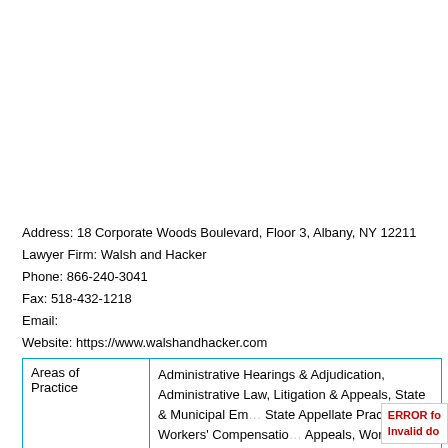Address: 18 Corporate Woods Boulevard, Floor 3, Albany, NY 12211
Lawyer Firm: Walsh and Hacker
Phone: 866-240-3041
Fax: 518-432-1218
Email:
Website: https://www.walshandhacker.com
| Areas of Practice |  |
| --- | --- |
| Areas of Practice | Administrative Hearings & Adjudication, Administrative Law, Litigation & Appeals, State & Municipal Em... State Appellate Practice, Workers' Compensatio... Appeals, Workers' Compensation Defense, Wor... Compensation Fraud, Workers' Compensation Law, |